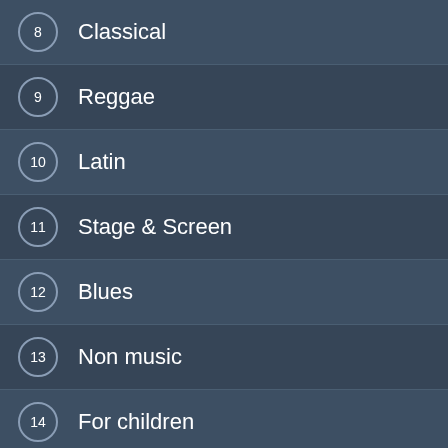8 Classical
9 Reggae
10 Latin
11 Stage & Screen
12 Blues
13 Non music
14 For children
15 Brass & Military
16 Other
Popular music